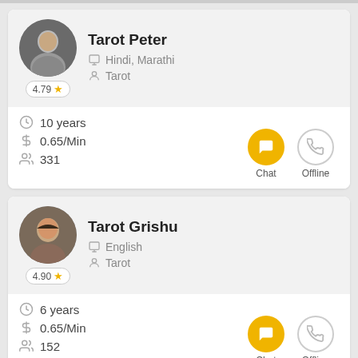[Figure (other): Profile card for Tarot Peter with avatar photo, rating 4.79 stars, languages Hindi/Marathi, specialty Tarot, 10 years experience, $0.65/Min, 331 followers, Chat (active) and Offline buttons]
[Figure (other): Profile card for Tarot Grishu with avatar photo, rating 4.90 stars, language English, specialty Tarot, 6 years experience, $0.65/Min, 152 followers, Chat (active) and Offline buttons]
[Figure (other): Partial profile card for Acharya Bhardwaj, avatar visible at bottom of page]